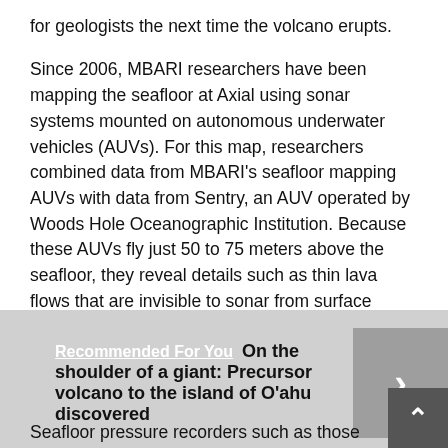for geologists the next time the volcano erupts.
Since 2006, MBARI researchers have been mapping the seafloor at Axial using sonar systems mounted on autonomous underwater vehicles (AUVs). For this map, researchers combined data from MBARI's seafloor mapping AUVs with data from Sentry, an AUV operated by Woods Hole Oceanographic Institution. Because these AUVs fly just 50 to 75 meters above the seafloor, they reveal details such as thin lava flows that are invisible to sonar from surface ships.
Recommended For You  On the shoulder of a giant: Precursor volcano to the island of O'ahu discovered
Seafloor pressure recorders such as those deployed on the Ocean Observatories Initiative (OOI) Cabled Array at Axial